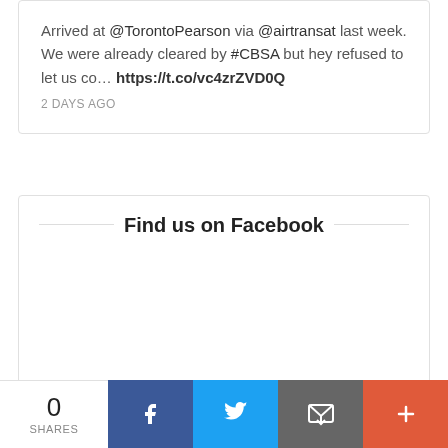Arrived at @TorontoPearson via @airtransat last week. We were already cleared by #CBSA but hey refused to let us co… https://t.co/vc4zrZVD0Q
2 DAYS AGO
Find us on Facebook
0 SHARES